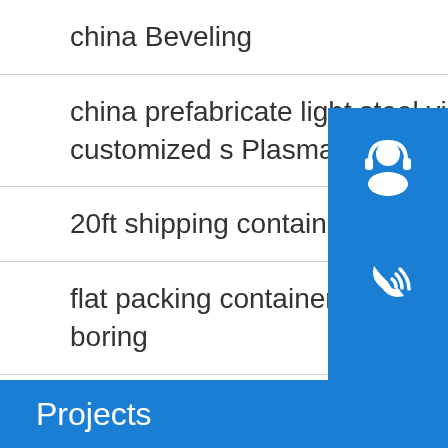china Beveling
china prefabricate light steel villa house with customized s Plasma welding
20ft shipping container frame Assembling
flat packing container prefabriacted small house boring
hot sale traveling type goods lift guide rail chain Slitting
automatic chicken cage systems poultry farm equipment polishing
Projects